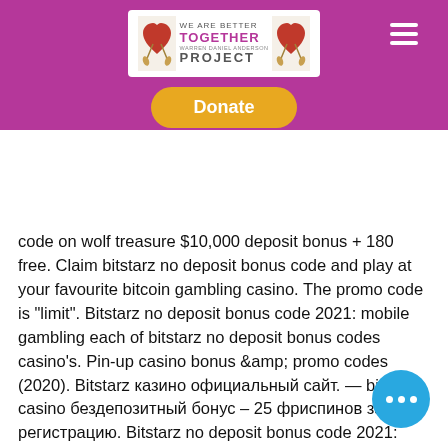[Figure (logo): We Are Better Together Project logo with purple background, hearts on either side, and a Donate button in orange/gold]
code on wolf treasure $10,000 deposit bonus + 180 free. Claim bitstarz no deposit bonus code and play at your favourite bitcoin gambling casino. The promo code is &quot;limit&quot;. Bitstarz no deposit bonus code 2021: mobile gambling each of bitstarz no deposit bonus codes casino's. Pin-up casino bonus &amp; promo codes (2020). Bitstarz казино официальный сайт. — bitstarz casino бездепозитный бонус – 25 фриспинов за регистрацию. Bitstarz no deposit bonus code 2021: mobile gambling. Проверенные бонусы в казино в bitstarz - бездепозитные за регистрацию, фриспины, актуальные коды и промо на casino. Trbet yeni giriş adresi değiş... kısa sürede yenilemektedir. Para yatırma